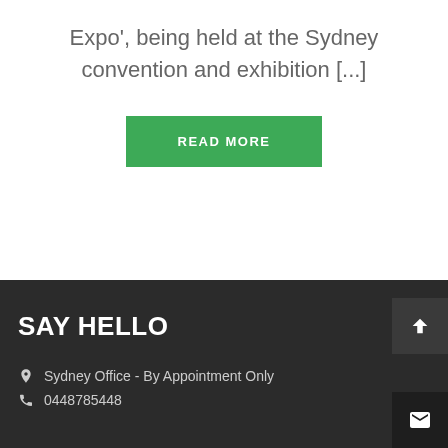Expo', being held at the Sydney convention and exhibition [...]
READ MORE
SAY HELLO
Sydney Office - By Appointment Only
0448785448